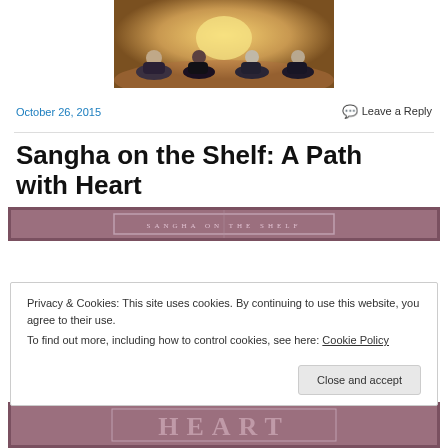[Figure (photo): People sitting cross-legged in a meditation session, viewed from behind, with warm glowing light in the background]
October 26, 2015
💬 Leave a Reply
Sangha on the Shelf: A Path with Heart
[Figure (photo): Book cover image with mauve/purple background, partially visible]
Privacy & Cookies: This site uses cookies. By continuing to use this website, you agree to their use.
To find out more, including how to control cookies, see here: Cookie Policy
Close and accept